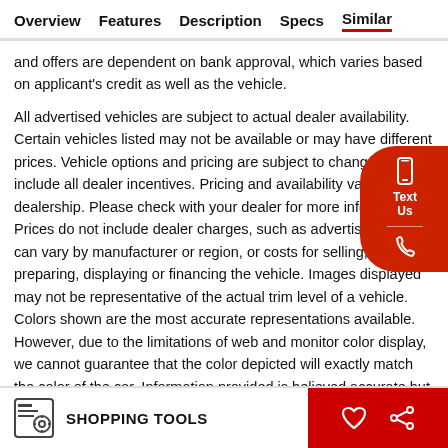Overview  Features  Description  Specs  Similar
and offers are dependent on bank approval, which varies based on applicant's credit as well as the vehicle.
All advertised vehicles are subject to actual dealer availability. Certain vehicles listed may not be available or may have different prices. Vehicle options and pricing are subject to change. Prices include all dealer incentives. Pricing and availability vary by dealership. Please check with your dealer for more information. Prices do not include dealer charges, such as advertising, that can vary by manufacturer or region, or costs for selling, preparing, displaying or financing the vehicle. Images displayed may not be representative of the actual trim level of a vehicle. Colors shown are the most accurate representations available. However, due to the limitations of web and monitor color display, we cannot guarantee that the color depicted will exactly match the color of the car. Information provided is believed accurate but all specifications, pricing,
SHOPPING TOOLS